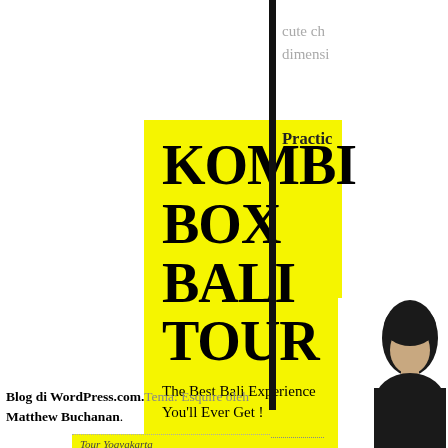[Figure (illustration): Yellow book cover for 'KOMBI BOX BALI TOUR' with subtitle 'The Best Bali Experience You'll Ever Get!' and author 'Ruby Floaties "Sewa Pelampung Murah di Bali"']
cute ch
dimensi
Practic
Blog di WordPress.com. Tema: Esquire oleh Matthew Buchanan.
Tour Yogyakarta